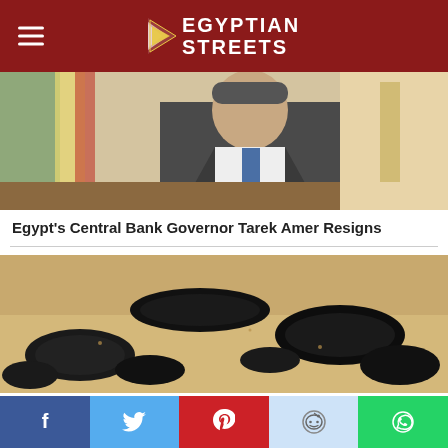EGYPTIAN STREETS
[Figure (photo): Man in suit sitting at a desk, Egyptian flag visible in background]
Egypt's Central Bank Governor Tarek Amer Resigns
[Figure (photo): Oil spill on sandy beach, dark tar-like patches on sand]
Oil Spill from Gulf of Aqaba Reaches Assalah Beach in Dahab
POLITICS AND SOCIETY